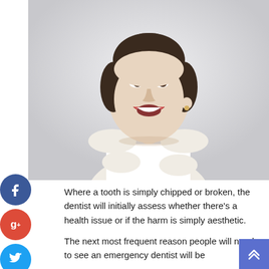[Figure (photo): A smiling young woman with dark hair pulled back, wearing a white sleeveless top, against a light gray background.]
[Figure (infographic): Social media share icons: Facebook (blue circle with f), Google+ (red circle with g+), Twitter (cyan circle with bird), and a plus/share button (cyan circle with +).]
Where a tooth is simply chipped or broken, the dentist will initially assess whether there's a health issue or if the harm is simply aesthetic.
The next most frequent reason people will need to see an emergency dentist will be
[Figure (other): Scroll-to-top button — blue/indigo square with double upward chevron arrows.]